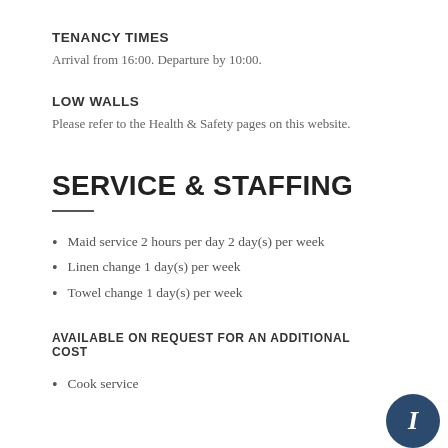TENANCY TIMES
Arrival from 16:00. Departure by 10:00.
LOW WALLS
Please refer to the Health & Safety pages on this website.
SERVICE & STAFFING
Maid service 2 hours per day 2 day(s) per week
Linen change 1 day(s) per week
Towel change 1 day(s) per week
AVAILABLE ON REQUEST FOR AN ADDITIONAL COST
Cook service